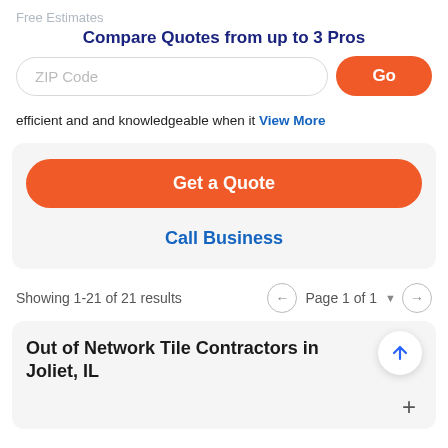Free Estimates
Compare Quotes from up to 3 Pros
ZIP Code | Go
efficient and and knowledgeable when it View More
Get a Quote
Call Business
Showing 1-21 of 21 results  Page 1 of 1
Out of Network Tile Contractors in Joliet, IL